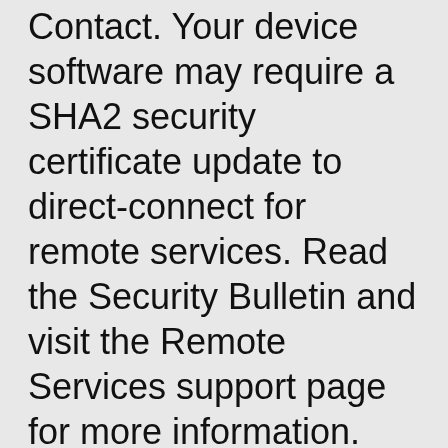Contact. Your device software may require a SHA2 security certificate update to direct-connect for remote services. Read the Security Bulletin and visit the Remote Services support page for more information.
Xerox Workcentre 5765 Manual Wc 5775 Brochure Service Specs Pdf Specification User Xeroworkcentre Paper Xerox Wc 5775 Specs Workcentre 5765 Service Manual Manuale Pdf Specification Brochure Specifications User How Do I Print To The...
O Xerox Global Print Driver independente gerencia impressoras Xerox e não-Xerox em sua rede com uma interface única e fácil